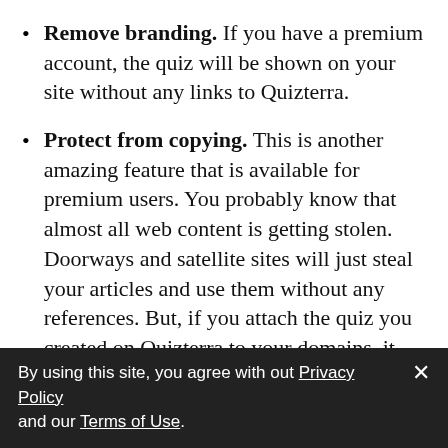Remove branding. If you have a premium account, the quiz will be shown on your site without any links to Quizterra.
Protect from copying. This is another amazing feature that is available for premium users. You probably know that almost all web content is getting stolen. Doorways and satellite sites will just steal your articles and use them without any references. But, if you attach the quiz you created on Quizterra to your domains, it will not be displayed on any other site that takes your source code.
By using this site, you agree with out Privacy Policy and our Terms of Use.